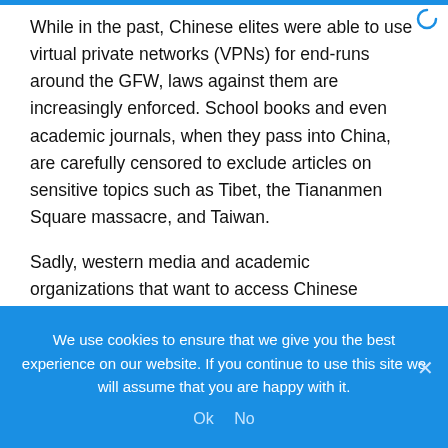While in the past, Chinese elites were able to use virtual private networks (VPNs) for end-runs around the GFW, laws against them are increasingly enforced. School books and even academic journals, when they pass into China, are carefully censored to exclude articles on sensitive topics such as Tibet, the Tiananmen Square massacre, and Taiwan.
Sadly, western media and academic organizations that want to access Chinese markets allow this censorship to take place, and so are complicit in what should really be considered the political enslavement of the Chinese people through an unethical withholding of free information.
We use cookies to ensure that we give you the best experience on our website. If you continue to use this site we will assume that you are happy with it.